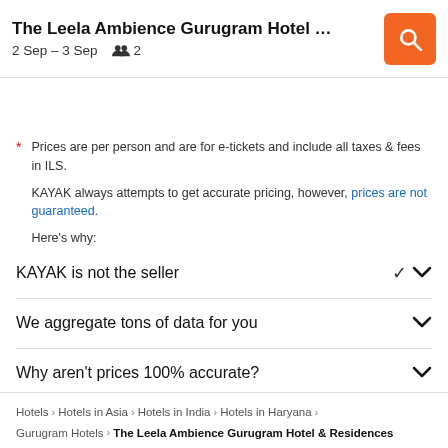The Leela Ambience Gurugram Hotel & Resi... | 2 Sep – 3 Sep | 2
* Prices are per person and are for e-tickets and include all taxes & fees in ILS.

KAYAK always attempts to get accurate pricing, however, prices are not guaranteed.

Here's why:
KAYAK is not the seller
We aggregate tons of data for you
Why aren't prices 100% accurate?
Hotels › Hotels in Asia › Hotels in India › Hotels in Haryana › Gurugram Hotels › The Leela Ambience Gurugram Hotel & Residences